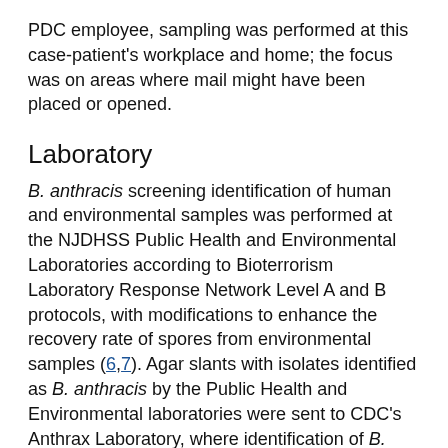PDC employee, sampling was performed at this case-patient's workplace and home; the focus was on areas where mail might have been placed or opened.
Laboratory
B. anthracis screening identification of human and environmental samples was performed at the NJDHSS Public Health and Environmental Laboratories according to Bioterrorism Laboratory Response Network Level A and B protocols, with modifications to enhance the recovery rate of spores from environmental samples (6,7). Agar slants with isolates identified as B. anthracis by the Public Health and Environmental laboratories were sent to CDC's Anthrax Laboratory, where identification of B. anthracis was confirmed by standard microbiologic procedures and the Laboratory Response Network